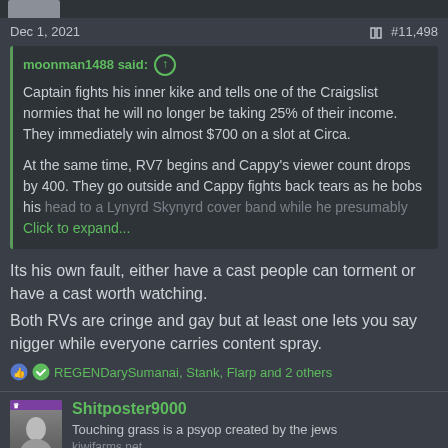[Figure (photo): Top partial image bar showing a partial avatar/profile picture]
Dec 1, 2021
#11,498
moonman1488 said: ↑

Captain fights his inner kike and tells one of the Craigslist normies that he will no longer be taking 25% of their income. They immediately win almost $700 on a slot at Circa.

At the same time, RV7 begins and Cappy's viewer count drops by 400. They go outside and Cappy fights back tears as he bobs his head to a Lynyrd Skynyrd cover band while he presumably
Click to expand...
Its his own fault, either have a cast people can torment or have a cast worth watching.
Both RVs are cringe and gay but at least one lets you say nigger while everyone carries content spray.
REGENDarySumanai, Stank, Flarp and 2 others
Shitposter9000
Touching grass is a psyop created by the jews
kiwifarms.net